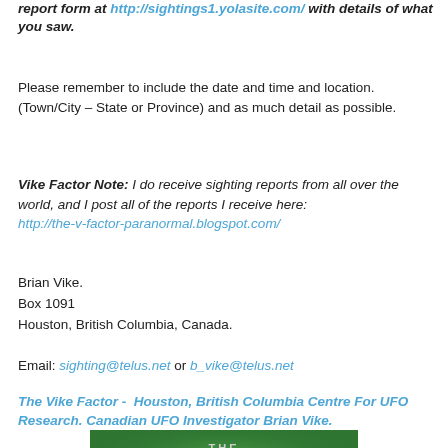report form at http://sightings1.yolasite.com/ with details of what you saw.
Please remember to include the date and time and location. (Town/City – State or Province) and as much detail as possible.
Vike Factor Note: I do receive sighting reports from all over the world, and I post all of the reports I receive here: http://the-v-factor-paranormal.blogspot.com/
Brian Vike.
Box 1091
Houston, British Columbia, Canada.
Email: sighting@telus.net or b_vike@telus.net
The Vike Factor - Houston, British Columbia Centre For UFO Research. Canadian UFO Investigator Brian Vike.
[Figure (logo): The Vike Factor logo with green background and stylized text]